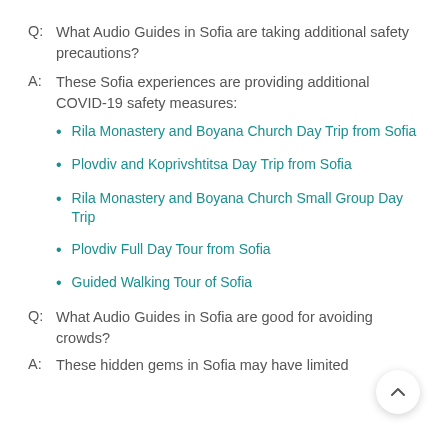Q:  What Audio Guides in Sofia are taking additional safety precautions?
A:  These Sofia experiences are providing additional COVID-19 safety measures:
Rila Monastery and Boyana Church Day Trip from Sofia
Plovdiv and Koprivshtitsa Day Trip from Sofia
Rila Monastery and Boyana Church Small Group Day Trip
Plovdiv Full Day Tour from Sofia
Guided Walking Tour of Sofia
Q:  What Audio Guides in Sofia are good for avoiding crowds?
A:  These hidden gems in Sofia may have limited